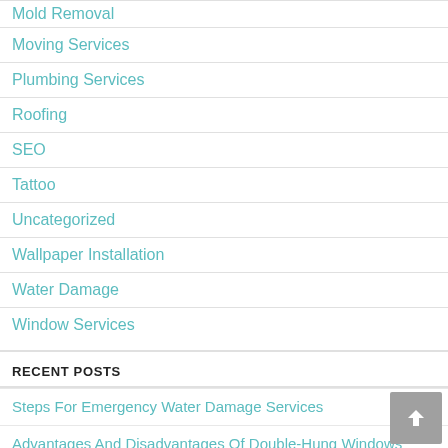Mold Removal
Moving Services
Plumbing Services
Roofing
SEO
Tattoo
Uncategorized
Wallpaper Installation
Water Damage
Window Services
RECENT POSTS
Steps For Emergency Water Damage Services
Advantages And Disadvantages Of Double-Hung Windows